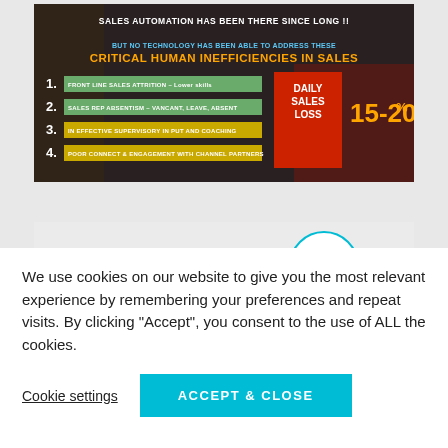[Figure (infographic): Sales automation infographic with dark background. Header: 'SALES AUTOMATION HAS BEEN THERE SINCE LONG !!' Subtitle: 'BUT NO TECHNOLOGY HAS BEEN ABLE TO ADDRESS THESE CRITICAL HUMAN INEFFICIENCIES IN SALES'. Four numbered list items in green/yellow bars: 1. FRONT LINE SALES ATTRITION – Lower skills, 2. SALES REP ABSENTISM – VANCANT, LEAVE, ABSENT, 3. IN EFFECTIVE SUPERVISORY IN PUT AND COACHING, 4. POOR CONNECT & ENGAGEMENT WITH CHANNEL PARTNERS. Red box showing DAILY SALES LOSS 15-20%.]
[Figure (other): Partial second card with teal circle icon (quote/presentation icon) visible at bottom of page.]
We use cookies on our website to give you the most relevant experience by remembering your preferences and repeat visits. By clicking "Accept", you consent to the use of ALL the cookies.
Cookie settings
ACCEPT & CLOSE